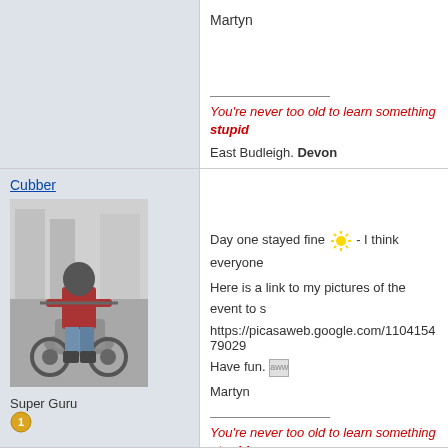Martyn
You're never too old to learn something stupid
East Budleigh. Devon
Cubber
[Figure (photo): Black and white photo of a person in a red jacket and helmet sitting on a motorcycle on a street]
Super Guru
Status: Offline
Posts: 2584
Date: Apr 16, 2016
Day one stayed fine ☀ - I think everyone
Here is a link to my pictures of the event to s
https://picasaweb.google.com/110415479029
Have fun. aww
Martyn
You're never too old to learn something stupid
East Budleigh. Devon